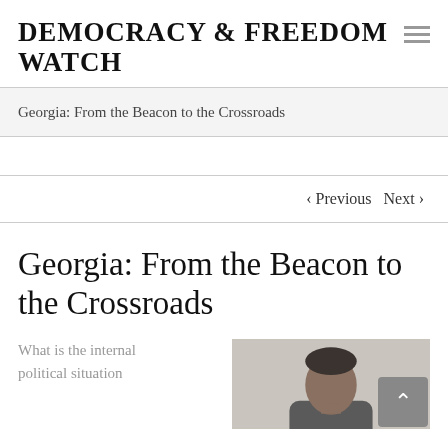Democracy & Freedom Watch
Georgia: From the Beacon to the Crossroads
‹ Previous   Next ›
Georgia: From the Beacon to the Crossroads
What is the internal political situation
[Figure (photo): A person (man) photographed from the shoulders up, gray background]